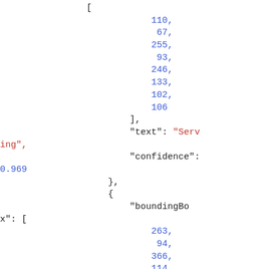Code/JSON snippet showing bounding box coordinates, text 'Serving', confidence 0.969, and a new boundingBox entry with coordinates 263, 94, 366, 114, 357, 154, 254, 134